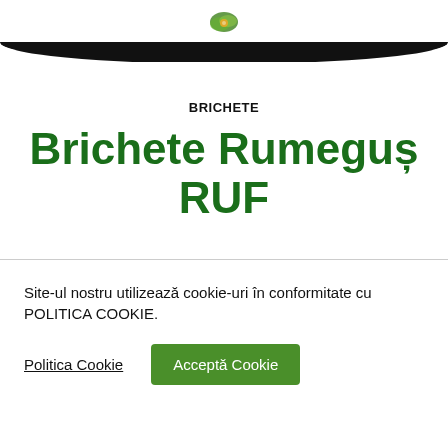[Figure (logo): Green leaf logo with text ENERGY OF NATURE and black curved navigation bar at bottom]
BRICHETE
Brichete Rumeguș RUF
Site-ul nostru utilizează cookie-uri în conformitate cu POLITICA COOKIE.
Politica Cookie   Acceptă Cookie